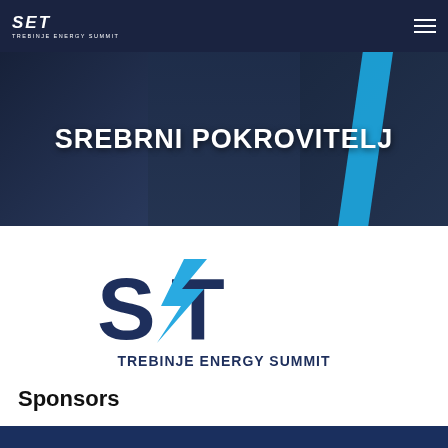SET TREBINJE ENERGY SUMMIT
[Figure (photo): Hero banner image showing energy infrastructure collage (control room, turbine, solar panels) with dark blue overlay and text SREBRNI POKROVITELJ in white, with a blue diagonal stripe accent on the right]
[Figure (logo): SET Trebinje Energy Summit logo — large stylized letters S, E (replaced by lightning bolt), T in dark navy blue with light blue lightning bolt, and text TREBINJE ENERGY SUMMIT below]
Sponsors
[Figure (other): Blue bar/banner at the bottom of the page]